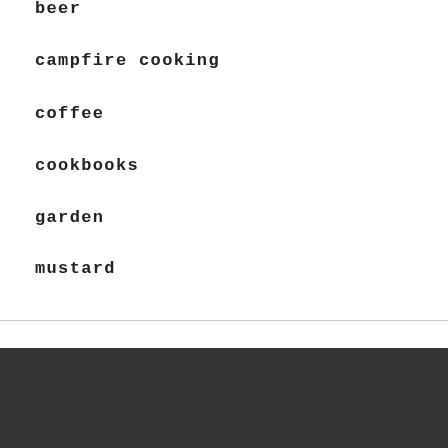beer
campfire cooking
coffee
cookbooks
garden
mustard
[Figure (other): Dark grey footer bar spanning the bottom portion of the page]